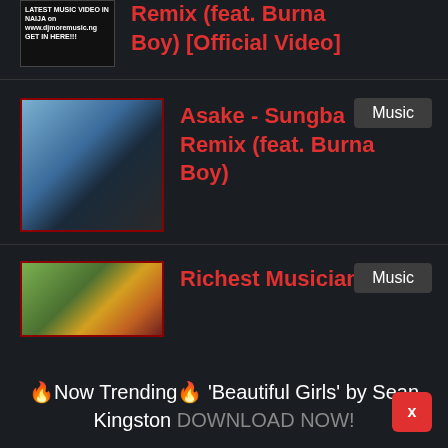[Figure (screenshot): Thumbnail image with text overlay reading LATEST MUSIC VIDEO IN NAIJA on www.djmoremusic.ng GET IN HERE!!!]
Remix (feat. Burna Boy) [Official Video]
[Figure (photo): Photo of two people, one in light blue hoodie and one in dark jacket]
Music
Asake - Sungba Remix (feat. Burna Boy)
[Figure (photo): Outdoor photo with people in colorful clothing]
Music
Richest Musicians In
🔥Now Trending🔥 'Beautiful Girls' by Sean Kingston DOWNLOAD NOW!